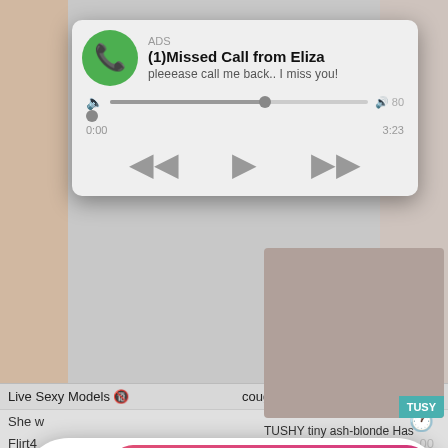[Figure (screenshot): Fake missed call audio notification overlay styled like a phone audio player. Shows green phone icon, 'ADS' label, '(1)Missed Call from Eliza', subtitle 'pleeease call me back.. I miss you!', a progress bar, timestamps 0:00 and 3:23, and playback controls (rewind, play, fast-forward).]
[Figure (screenshot): Fake chat notification overlay. Shows a circular avatar with 'LIVE' badge and red notification dot, and a pink gradient bubble containing 'ADS', 'Angel is typing ... 💬', '(1) unread message'.]
[Figure (screenshot): Background adult website content visible partially: text labels 'Live Sexy Models 🔞', 'cougar Ariella Ferrera takes a m...', 'She w...', 'Flirt4...', bottom image from TUSHY with text 'TUSHY tiny ash-blonde Has ultra-...']